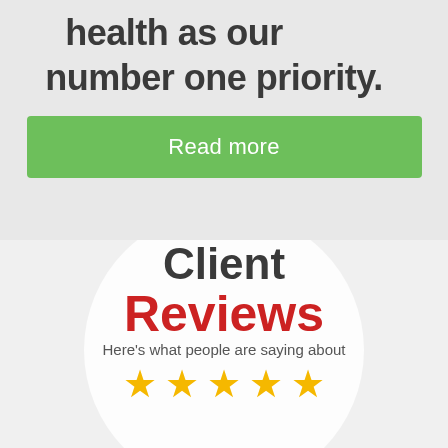health as our number one priority.
Read more
Client Reviews
Here's what people are saying about
[Figure (illustration): Five gold star rating icons in a row]
BrainAction side fetation wort